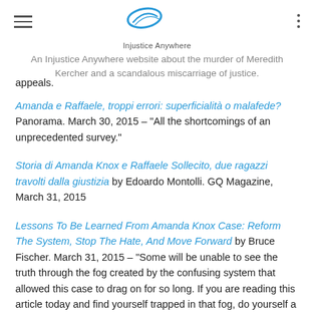[Figure (logo): Injustice Anywhere website logo — a blue swoosh/ellipse graphic with text 'Injustice Anywhere' below]
An Injustice Anywhere website about the murder of Meredith Kercher and a scandalous miscarriage of justice.
appeals.
Amanda e Raffaele, troppi errori: superficialità o malafede? Panorama. March 30, 2015 – "All the shortcomings of an unprecedented survey."
Storia di Amanda Knox e Raffaele Sollecito, due ragazzi travolti dalla giustizia by Edoardo Montolli. GQ Magazine, March 31, 2015
Lessons To Be Learned From Amanda Knox Case: Reform The System, Stop The Hate, And Move Forward by Bruce Fischer. March 31, 2015 – "Some will be unable to see the truth through the fog created by the confusing system that allowed this case to drag on for so long. If you are reading this article today and find yourself trapped in that fog, do yourself a favor while doing your own research, and ask